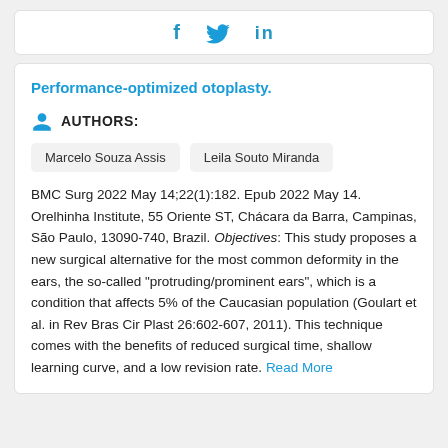[Figure (other): Social sharing bar with Facebook (f), Twitter (bird), and LinkedIn (in) icons in blue]
Performance-optimized otoplasty.
AUTHORS:
Marcelo Souza Assis | Leila Souto Miranda
BMC Surg 2022 May 14;22(1):182. Epub 2022 May 14. Orelhinha Institute, 55 Oriente ST, Chácara da Barra, Campinas, São Paulo, 13090-740, Brazil. Objectives: This study proposes a new surgical alternative for the most common deformity in the ears, the so-called "protruding/prominent ears", which is a condition that affects 5% of the Caucasian population (Goulart et al. in Rev Bras Cir Plast 26:602-607, 2011). This technique comes with the benefits of reduced surgical time, shallow learning curve, and a low revision rate. Read More